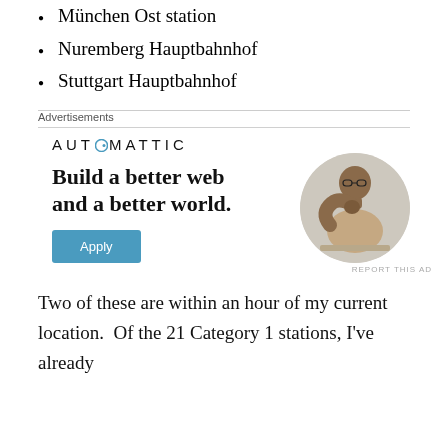München Ost station
Nuremberg Hauptbahnhof
Stuttgart Hauptbahnhof
Advertisements
[Figure (other): Automattic advertisement banner with logo, headline 'Build a better web and a better world.', Apply button, and circular photo of a man thinking]
Two of these are within an hour of my current location.  Of the 21 Category 1 stations, I've already